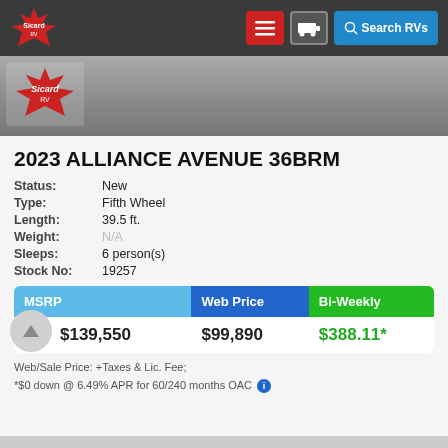[Figure (logo): Sicard RV logo on dark navigation bar with hamburger menu, RV icon button, and Search RVs button]
[Figure (photo): Partial photo of RV with Sicard RV logo overlay]
2023 ALLIANCE AVENUE 36BRM
Status: New
Type: Fifth Wheel
Length: 39.5 ft.
Weight: N/A
Sleeps: 6 person(s)
Stock No: 19257
| MSRP | Web Price | Bi-Weekly |
| --- | --- | --- |
| $139,550 | $99,890 | $388.11* |
Web/Sale Price: +Taxes & Lic. Fee;
*$0 down @ 6.49% APR for 60/240 months OAC